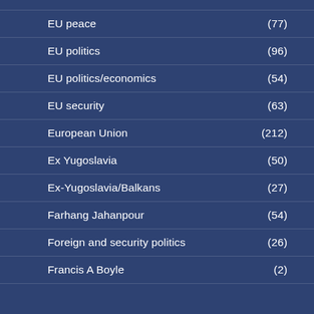EU peace (77)
EU politics (96)
EU politics/economics (54)
EU security (63)
European Union (212)
Ex Yugoslavia (50)
Ex-Yugoslavia/Balkans (27)
Farhang Jahanpour (54)
Foreign and security politics (26)
Francis A Boyle (2)